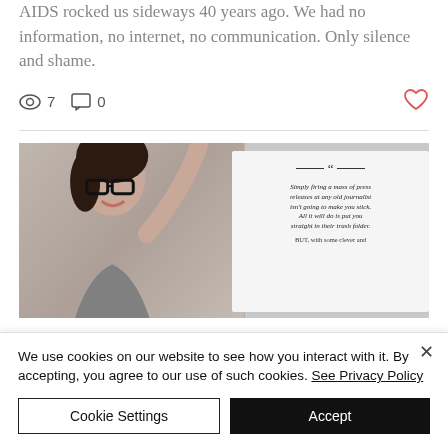AIDS rocked us sideways 40 years ago. We had no information, no internet, no communication. Only silence and shame.
7 views  0 comments
[Figure (photo): Photo of a smiling woman with glasses in front of a laptop, overlaid with a white card containing a quote: 'Simply firing a mass of press releases at any old journalist isn't going to make you stick. All it will do is put you straight in their trash folder. BUT, with some clever and...']
We use cookies on our website to see how you interact with it. By accepting, you agree to our use of such cookies. See Privacy Policy
Cookie Settings
Accept